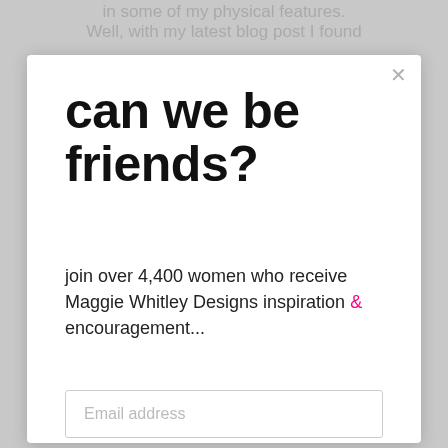in some of my physical features.
Well, with my latest blog post I found
can we be friends?
join over 4,400 women who receive Maggie Whitley Designs inspiration & encouragement...
Email address
Subscribe